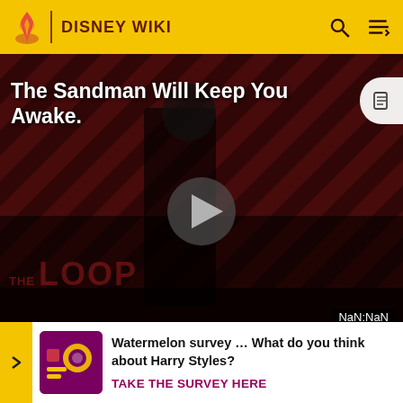DISNEY WIKI
[Figure (screenshot): Video player showing 'The Sandman Will Keep You Awake.' with a dark figure in black against diagonal red/dark stripes background. A play button is in the center. 'THE LOOP' text appears at the bottom. Time display shows NaN:NaN.]
parade of Dole products, is shown on a rear-projection screen on the rear of the roof of the Dole snack bar at the entr[ance] or music[al] Offen[...]
Watermelon survey … What do you think about Harry Styles? TAKE THE SURVEY HERE